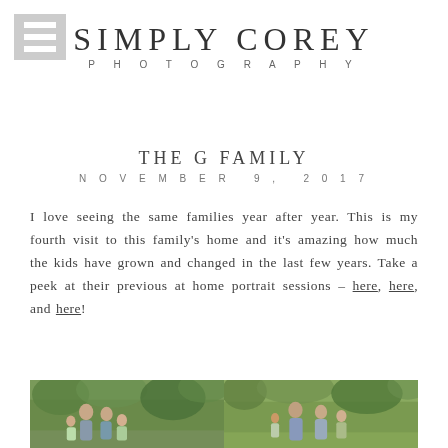[Figure (logo): Hamburger/navigation menu icon — three horizontal white bars on a grey square background, top-left corner]
SIMPLY COREY
PHOTOGRAPHY
THE G FAMILY
NOVEMBER 9, 2017
I love seeing the same families year after year. This is my fourth visit to this family's home and it's amazing how much the kids have grown and changed in the last few years. Take a peek at their previous at home portrait sessions – here, here, and here!
[Figure (photo): Two side-by-side outdoor family photos in a wooded/green setting. Left photo shows a family group with adults and children. Right photo shows another family grouping. Both have leafy green trees in background.]